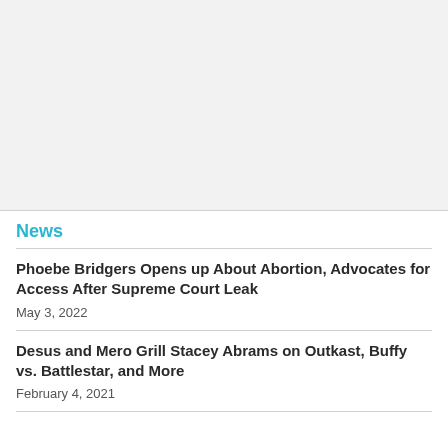[Figure (other): Gray placeholder box, likely an advertisement or image placeholder]
News
Phoebe Bridgers Opens up About Abortion, Advocates for Access After Supreme Court Leak
May 3, 2022
Desus and Mero Grill Stacey Abrams on Outkast, Buffy vs. Battlestar, and More
February 4, 2021